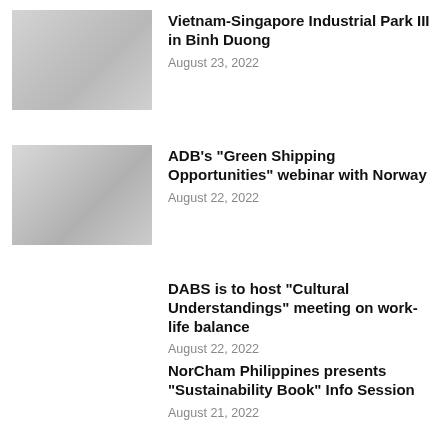[Figure (photo): Thumbnail photo showing people gathered at an event, presumably at Vietnam-Singapore Industrial Park III in Binh Duong]
Vietnam-Singapore Industrial Park III in Binh Duong
August 23, 2022
[Figure (photo): Thumbnail photo related to ADB Green Shipping Opportunities webinar with Norway]
ADB’s “Green Shipping Opportunities” webinar with Norway
August 22, 2022
DABS is to host “Cultural Understandings” meeting on work-life balance
August 22, 2022
NorCham Philippines presents “Sustainability Book” Info Session
August 21, 2022